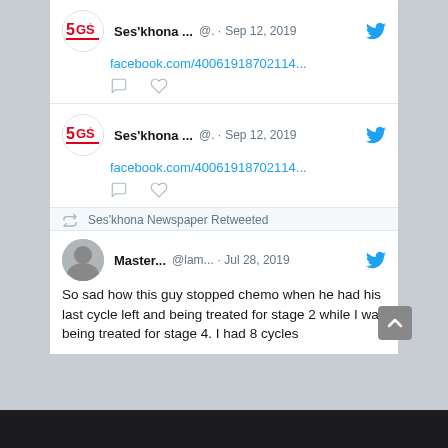[Figure (screenshot): Twitter/social media feed screenshot showing two identical tweet cards from 'Ses'khona ...' with handle '@.' dated Sep 12, 2019, containing a Facebook link 'facebook.com/40061918702114...', followed by a retweeted post. The retweet bar shows 'Ses'khona Newspaper Retweeted'. The retweeted post is from 'Master...' handle '@lam...' dated Jul 28, 2019 reading: 'So sad how this guy stopped chemo when he had his last cycle left and being treated for stage 2 while I was being treated for stage 4. I had 8 cycles']